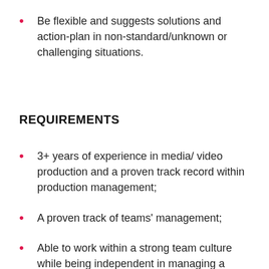Be flexible and suggests solutions and action-plan in non-standard/unknown or challenging situations.
REQUIREMENTS
3+ years of experience in media/ video production and a proven track record within production management;
A proven track of teams' management;
Able to work within a strong team culture while being independent in managing a business with varying needs;